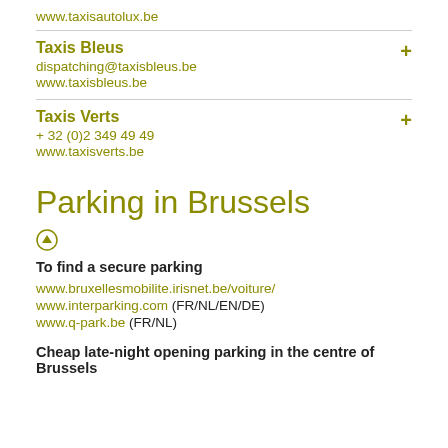www.taxisautolux.be
Taxis Bleus
dispatching@taxisbleus.be
www.taxisbleus.be
Taxis Verts
+ 32 (0)2 349 49 49
www.taxisverts.be
Parking in Brussels
To find a secure parking
www.bruxellesmobilite.irisnet.be/voiture/
www.interparking.com (FR/NL/EN/DE)
www.q-park.be (FR/NL)
Cheap late-night opening parking in the centre of Brussels